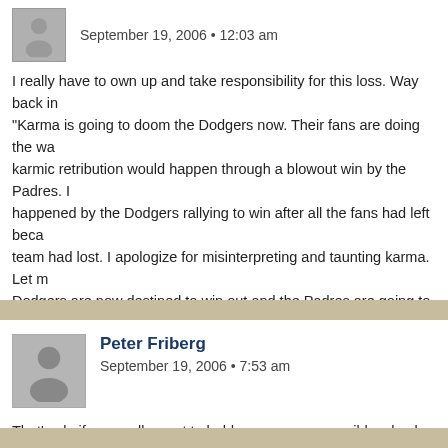September 19, 2006 • 12:03 am
I really have to own up and take responsibility for this loss. Way back in... "Karma is going to doom the Dodgers now. Their fans are doing the wa... karmic retribution would happen through a blowout win by the Padres. I... happened by the Dodgers rallying to win after all the fans had left beca... team had lost. I apologize for misinterpreting and taunting karma. Let m... Dodgers are now destined to win out and the Padres are going to lose e... is going to win the NL MVP, and the Mets will make it to the World Serie...
Peter Friberg
September 19, 2006 • 7:53 am
That's ok, if you really want to hold someone responcible, check out Ge...
Come on Geoff!